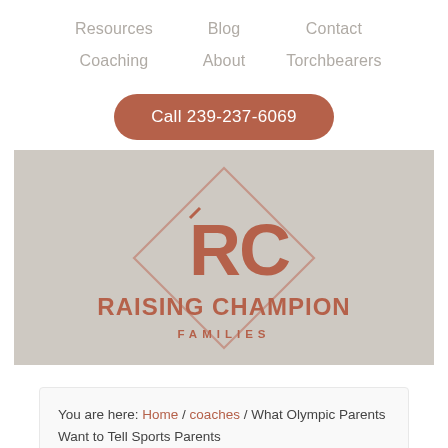Resources   Blog   Contact   Coaching   About   Torchbearers
Call 239-237-6069
[Figure (logo): Raising Champion Families logo on a beige/tan background. A diamond shape outline contains the letters RC. Below reads RAISING CHAMPION in large text and FAMILIES in spaced capitals.]
You are here: Home / coaches / What Olympic Parents Want to Tell Sports Parents